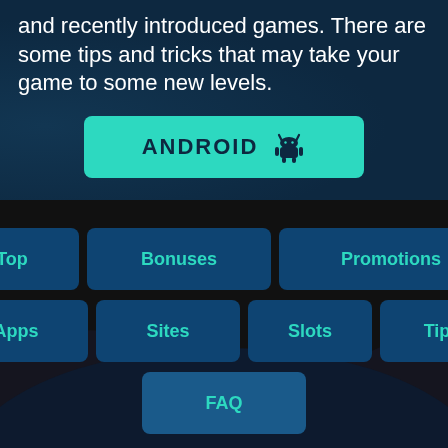and recently introduced games. There are some tips and tricks that may take your game to some new levels.
[Figure (other): Android download button with teal background and Android robot icon]
Top
Bonuses
Promotions
Apps
Sites
Slots
Tips
FAQ